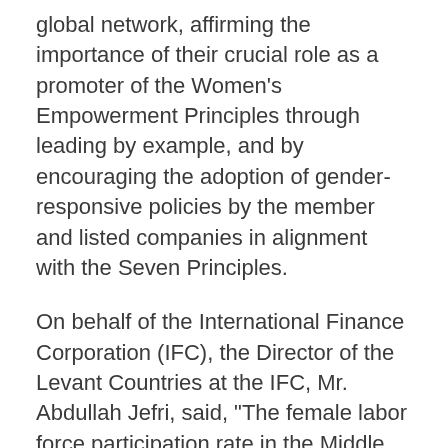global network, affirming the importance of their crucial role as a promoter of the Women's Empowerment Principles through leading by example, and by encouraging the adoption of gender-responsive policies by the member and listed companies in alignment with the Seven Principles.
On behalf of the International Finance Corporation (IFC), the Director of the Levant Countries at the IFC, Mr. Abdullah Jefri, said, "The female labor force participation rate in the Middle East is considerably low compared to other regions of the world. This gap between the percentage of male and female labor force participation rates causes a loss